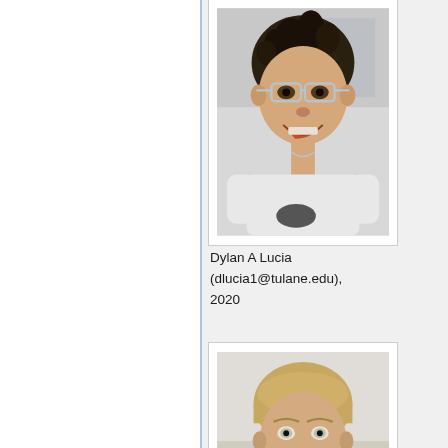[Figure (photo): Headshot photo of Dylan A Lucia wearing safety glasses, smiling in what appears to be a laboratory setting, wearing a white t-shirt]
Dylan A Lucia (dlucia1@tulane.edu), 2020
[Figure (photo): Headshot photo of a young man with short blonde hair, smiling, wearing what appears to be military or green clothing, photographed outdoors or in a casual setting]